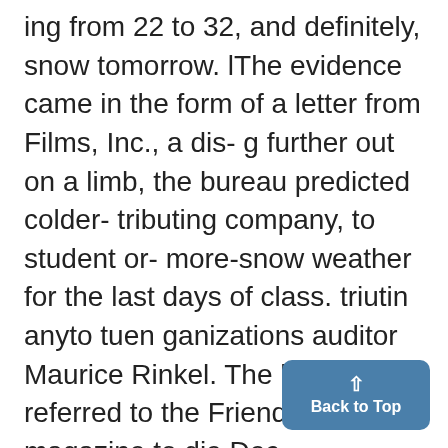ing from 22 to 32, and definitely, snow tomorrow. lThe evidence came in the form of a letter from Films, Inc., a dis- g further out on a limb, the bureau predicted colder- tributing company, to student or- more-snow weather for the last days of class. triutin anyto tuen ganizations auditor Maurice Rinkel. The letter referred to the Friends 'Life' magazine to die Dec.

of Newsreel as being "formerly University of Michigan Film So-